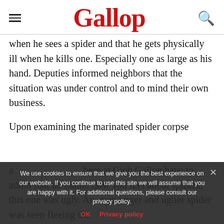Gallop
when he sees a spider and that he gets physically ill when he kills one. Especially one as large as his hand. Deputies informed neighbors that the situation was under control and to mind their own business.
Upon examining the marinated spider corpse a... here at Gieb Gallon have to admit that no matter how you feel about spiders, this one was ugly. An even larger and uglier spider was seen fleeing the
We use cookies to ensure that we give you the best experience on our website. If you continue to use this site we will assume that you are happy with it. For additional questions, please consult our privacy policy.